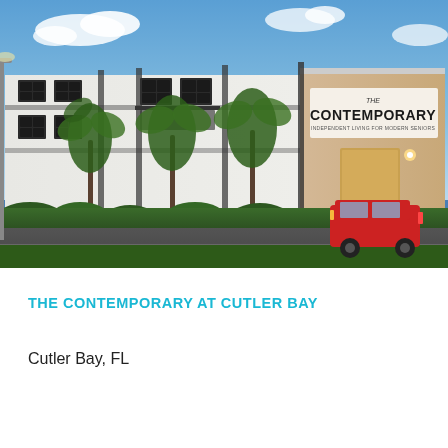[Figure (photo): Exterior rendering of The Contemporary at Cutler Bay, a modern multi-story senior independent living building with white facade, palm trees, and a red SUV parked in front, photographed at dusk with a blue sky.]
THE CONTEMPORARY AT CUTLER BAY
Cutler Bay, FL